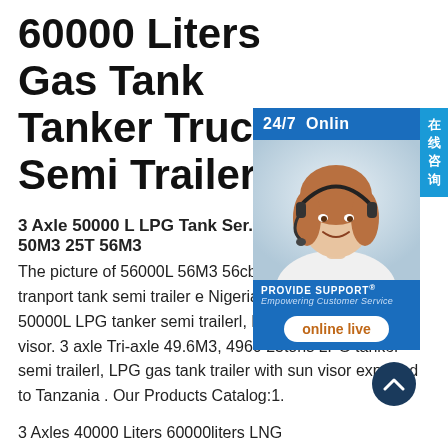60000 Liters Gas Tank Tanker Truck Semi Trailer
3 Axle 50000 L LPG Tank Ser. 50M3 25T 56M3
The picture of 56000L 56M3 56cbm L trailer LPG tranport tank semi trailer e Nigeria. 3 axle Tri-axle 50M3, 50000L LPG tanker semi trailerl, LPG gas tan with sun visor. 3 axle Tri-axle 49.6M3, 4960 25tons LPG tanker semi trailerl, LPG gas tank trailer with sun visor exported to Tanzania . Our Products Catalog:1.
3 Axles 40000 Liters 60000liters LNG
[Figure (photo): Online customer support chat widget showing a woman with headset, '24/7 Online' header in blue, PROVIDE SUPPORT branding, and 'online live' button. Chinese characters on right side tab reading '在线咨询' (online consultation).]